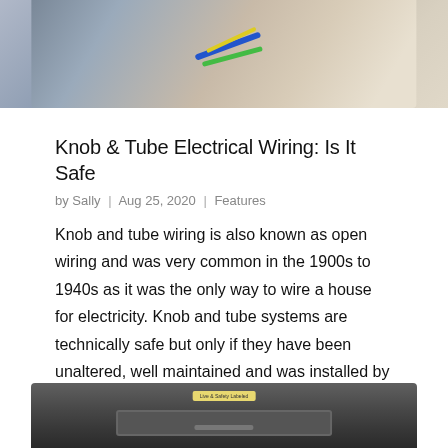[Figure (photo): Person working with electrical wiring, blue and green/yellow wires visible]
Knob & Tube Electrical Wiring: Is It Safe
by Sally | Aug 25, 2020 | Features
Knob and tube wiring is also known as open wiring and was very common in the 1900s to 1940s as it was the only way to wire a house for electricity. Knob and tube systems are technically safe but only if they have been unaltered, well maintained and was installed by a...
[Figure (photo): Electrical panel or circuit breaker box with yellow label]